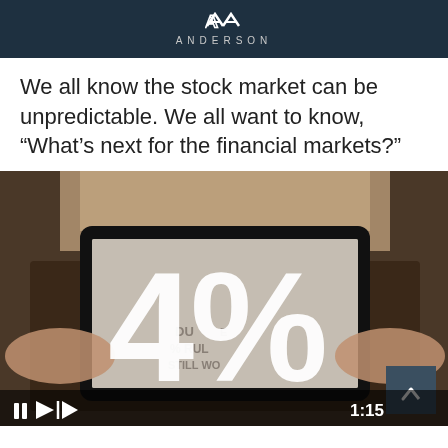ANDERSON
We all know the stock market can be unpredictable. We all want to know, “What’s next for the financial markets?”
[Figure (photo): A person holding a tablet displaying content about the '4% rule' with a large white '4%' text overlay on a video thumbnail. A video player bar is visible at the bottom showing duration 1:15.]